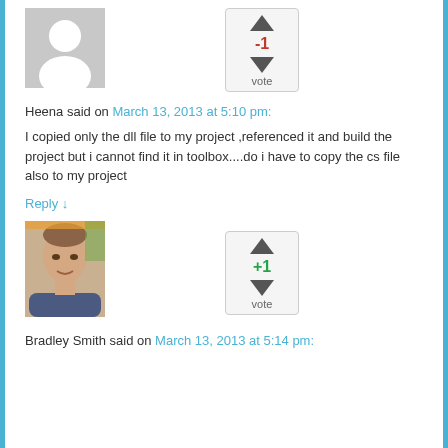[Figure (photo): Gray placeholder avatar silhouette for anonymous user]
[Figure (infographic): Vote widget showing -1 with up and down arrows and 'vote' label]
Heena said on March 13, 2013 at 5:10 pm:
I copied only the dll file to my project ,referenced it and build the project but i cannot find it in toolbox....do i have to copy the cs file also to my project
Reply ↓
[Figure (photo): Photo of Bradley Smith, a man with short hair against a colorful background]
[Figure (infographic): Vote widget showing +1 with up and down arrows and 'vote' label]
Bradley Smith said on March 13, 2013 at 5:14 pm: